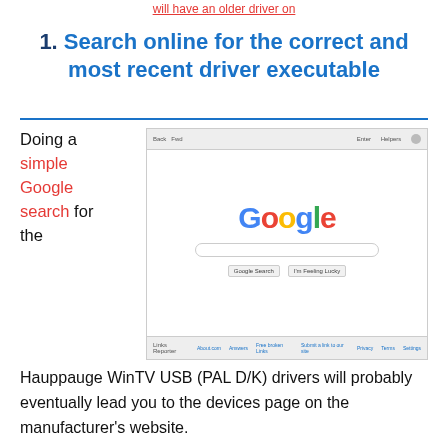will have an older driver on
1. Search online for the correct and most recent driver executable
[Figure (screenshot): Screenshot of Google homepage in a browser window, showing the Google logo, search bar, and search buttons.]
Doing a simple Google search for the Hauppauge WinTV USB (PAL D/K) drivers will probably eventually lead you to the devices page on the manufacturer's website.